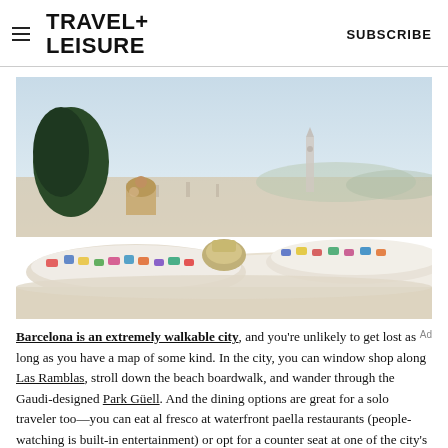TRAVEL+ LEISURE  SUBSCRIBE
[Figure (photo): Park Güell in Barcelona, Spain — colorful mosaic benches and Gaudí-designed structures in the foreground with the Barcelona cityscape and sky in the background]
Barcelona is an extremely walkable city, and you're unlikely to get lost as long as you have a map of some kind. In the city, you can window shop along Las Ramblas, stroll down the beach boardwalk, and wander through the Gaudi-designed Park Güell. And the dining options are great for a solo traveler too—you can eat al fresco at waterfront paella restaurants (people-watching is built-in entertainment) or opt for a counter seat at one of the city's many